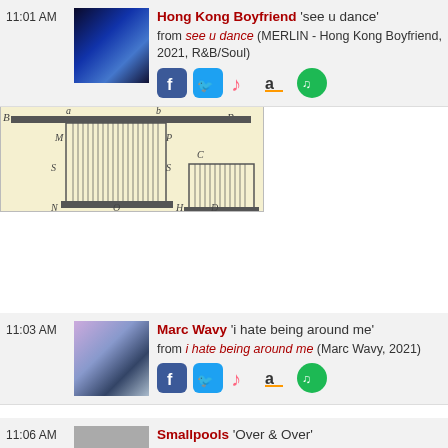[Figure (engineering-diagram): Technical engineering schematic drawing of what appears to be an electromagnetic or mechanical device, with labeled components A, B, C, D, M, N, O, P, S, H, a, b on a yellowish background.]
11:01 AM  Hong Kong Boyfriend 'see u dance' from see u dance (MERLIN - Hong Kong Boyfriend, 2021, R&B/Soul)
11:03 AM  Marc Wavy 'i hate being around me' from i hate being around me (Marc Wavy, 2021)
11:06 AM  Smallpools 'Over & Over'